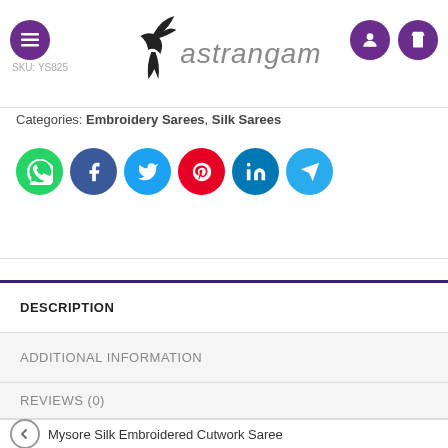vastrangam - navigation header
Categories: Embroidery Sarees, Silk Sarees
[Figure (other): Row of 6 social media share buttons: WhatsApp (green), Facebook (dark blue), Twitter (blue), Pinterest (red), LinkedIn (blue), Telegram (light blue)]
DESCRIPTION
ADDITIONAL INFORMATION
REVIEWS (0)
Mysore Silk Embroidered Cutwork Saree